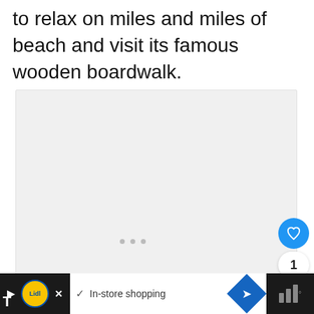to relax on miles and miles of beach and visit its famous wooden boardwalk.
[Figure (photo): Large light gray placeholder image area with three small gray dots centered, and UI overlay elements including a heart/like button, share button, count of 1, and a 'What's Next' card showing Map of Wisconsin thumbnail]
[Figure (screenshot): Ad bar at bottom: Lidl logo with play/close buttons on dark left panel, checkmark and 'In-store shopping' text, blue diamond navigation icon, signal bars on dark right panel]